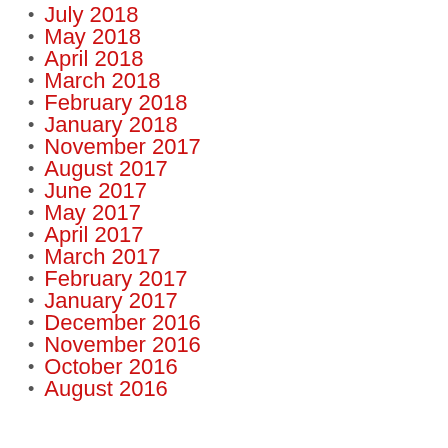July 2018
May 2018
April 2018
March 2018
February 2018
January 2018
November 2017
August 2017
June 2017
May 2017
April 2017
March 2017
February 2017
January 2017
December 2016
November 2016
October 2016
August 2016